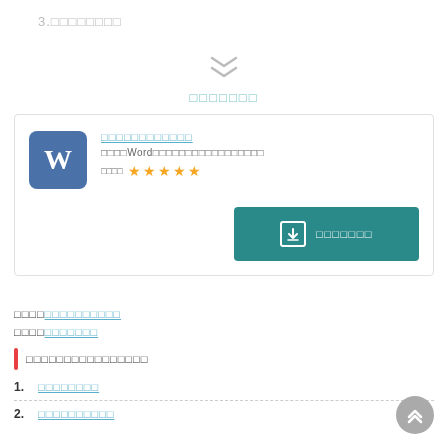3.□□□□□□□□
[Figure (other): Double chevron down arrow icon in gray]
□□□□□□□
[Figure (other): App card with Microsoft Word icon, title, description with Word in text, 5 star rating, and teal download button]
□□□□□□□□□□□□
□□□□□□□□□□
□□□□□□□□□□□□□□□□
1. □□□□□□□□
2. □□□□□□□□□□